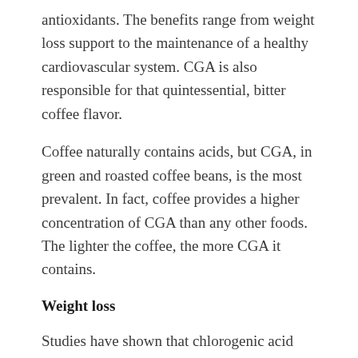antioxidants. The benefits range from weight loss support to the maintenance of a healthy cardiovascular system. CGA is also responsible for that quintessential, bitter coffee flavor.
Coffee naturally contains acids, but CGA, in green and roasted coffee beans, is the most prevalent. In fact, coffee provides a higher concentration of CGA than any other foods. The lighter the coffee, the more CGA it contains.
Weight loss
Studies have shown that chlorogenic acid and caffeine work together to reduce abdominal fat by increasing the opening of fat cells so they can release energy.